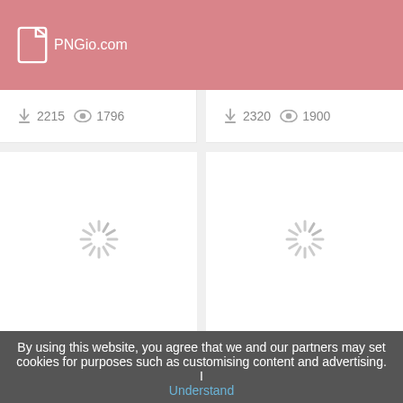[Figure (logo): PNGio.com logo with file icon and text on pink/rose header background]
2215 downloads, 1796 views
2320 downloads, 1900 views
[Figure (illustration): Horse Head Clipart loading spinner placeholder]
Horse Head Clipart
971 downloads, 564 views
[Figure (illustration): Dental Clipart loading spinner placeholder]
Dental Clipart
855 downloads, 450 views
By using this website, you agree that we and our partners may set cookies for purposes such as customising content and advertising. I Understand